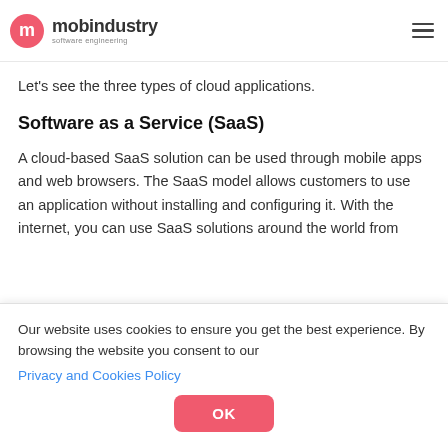mobindustry software engineering
Let's see the three types of cloud applications.
Software as a Service (SaaS)
A cloud-based SaaS solution can be used through mobile apps and web browsers. The SaaS model allows customers to use an application without installing and configuring it. With the internet, you can use SaaS solutions around the world from
Our website uses cookies to ensure you get the best experience. By browsing the website you consent to our Privacy and Cookies Policy
OK